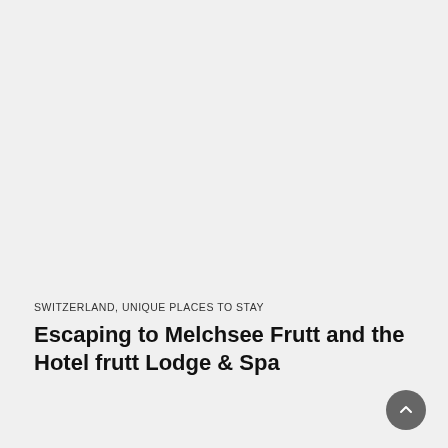SWITZERLAND, UNIQUE PLACES TO STAY
Escaping to Melchsee Frutt and the Hotel frutt Lodge & Spa